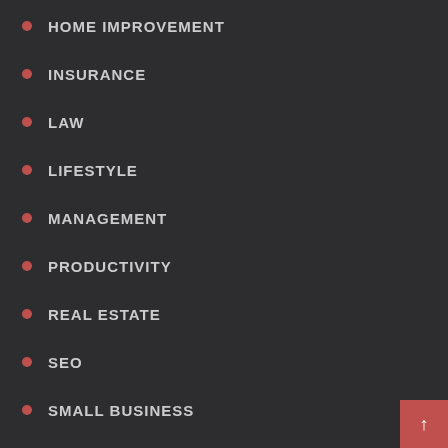HOME IMPROVEMENT
INSURANCE
LAW
LIFESTYLE
MANAGEMENT
PRODUCTIVITY
REAL ESTATE
SEO
SMALL BUSINESS
SPORTS